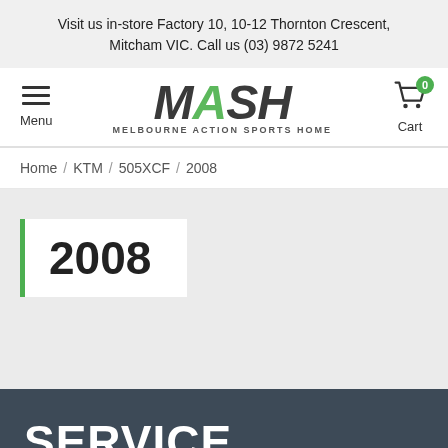Visit us in-store Factory 10, 10-12 Thornton Crescent, Mitcham VIC. Call us (03) 9872 5241
[Figure (logo): MASH Melbourne Action Sports Home logo with hamburger menu and cart icon with badge 0]
Home / KTM / 505XCF / 2008
2008
SERVICE